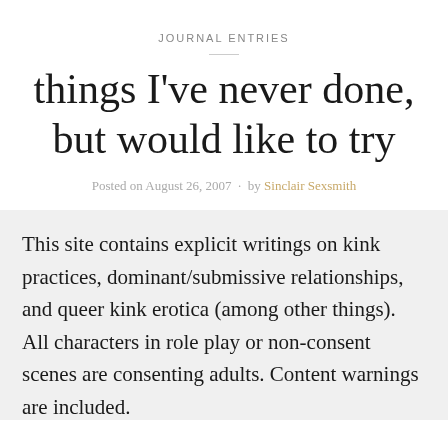JOURNAL ENTRIES
things I've never done, but would like to try
Posted on August 26, 2007 · by Sinclair Sexsmith
This site contains explicit writings on kink practices, dominant/submissive relationships, and queer kink erotica (among other things). All characters in role play or non-consent scenes are consenting adults. Content warnings are included.